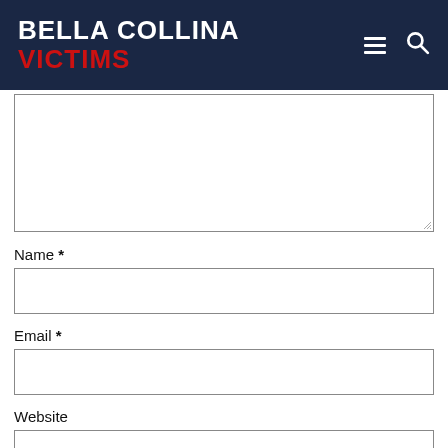BELLA COLLINA VICTIMS
[Figure (screenshot): Textarea form field (empty comment/message box)]
Name *
[Figure (screenshot): Name input field (empty text box)]
Email *
[Figure (screenshot): Email input field (empty text box)]
Website
[Figure (screenshot): Website input field (empty text box, partially visible)]